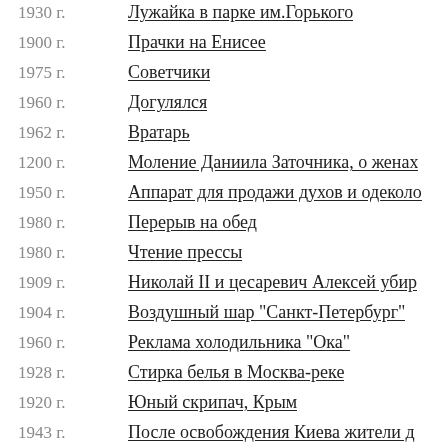1930 г. — Лужайка в парке им.Горького
1900 г. — Прачки на Енисее
1975 г. — Советчики
1960 г. — Догулялся
1962 г. — Вратарь
1200 г. — Моление Даниила Заточника, о женах
1950 г. — Аппарат для продажи духов и одеколо
1980 г. — Перерыв на обед
1980 г. — Чтение прессы
1909 г. — Николай II и цесаревич Алексей убир
1904 г. — Воздушный шар "Санкт-Петербург"
1960 г. — Реклама холодильника "Ока"
1928 г. — Стирка белья в Москва-реке
1920 г. — Юный скрипач, Крым
1943 г. — После освобождения Киева жители д
1902 г. — Воспоминание Арсеньева о быте пере